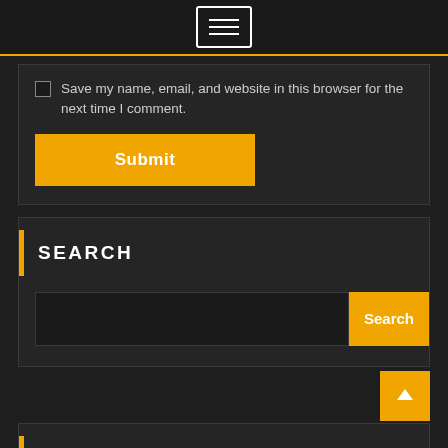Menu icon (hamburger button)
Save my name, email, and website in this browser for the next time I comment.
Submit
SEARCH
Search
RECENT POSTS